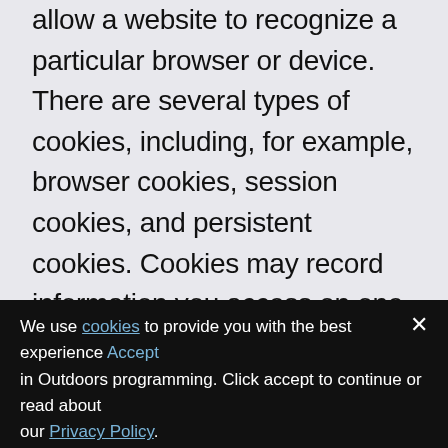allow a website to recognize a particular browser or device. There are several types of cookies, including, for example, browser cookies, session cookies, and persistent cookies. Cookies may record information you access on one page of a website to simplify subsequent interaction with that website, or to help streamline your transactions on related pages of that website. Most major browsers are set up so that they will initially accept cookies, but you might be able to adjust your browser settings to reject
We use cookies to provide you with the best experience Accept in Outdoors programming. Click accept to continue or read about our Privacy Policy.